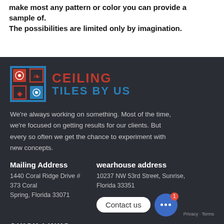make most any pattern or color you can provide a sample of.
The possibilities are limited only by imagination.
[Figure (logo): Ceiling Tiles By Us logo with red and blue decorative tile icon and company name text]
We're always working on something. Most of the time, we're focused on getting results for our clients. But every so often we get the chance to experiment with new concepts.
Mailing Address
1440 Coral Ridge Drive # 373 Coral Spring, Florida 33071
wearhouse address
10237 NW 53rd Street, Sunrise, Florida 33351
Contact us
QUICK LINKS